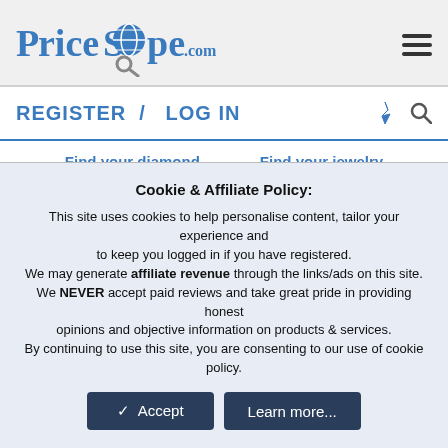[Figure (logo): PriceScope.com logo with globe icon and magnifying glass]
REGISTER / LOG IN
Find your diamond    Find your jewelry
< RockyTalky (Diamond Discussion)
Another upgrade
Cookie & Affiliate Policy:
This site uses cookies to help personalise content, tailor your experience and to keep you logged in if you have registered.
We may generate affiliate revenue through the links/ads on this site.
We NEVER accept paid reviews and take great pride in providing honest opinions and objective information on products & services.
By continuing to use this site, you are consenting to our use of cookie policy.